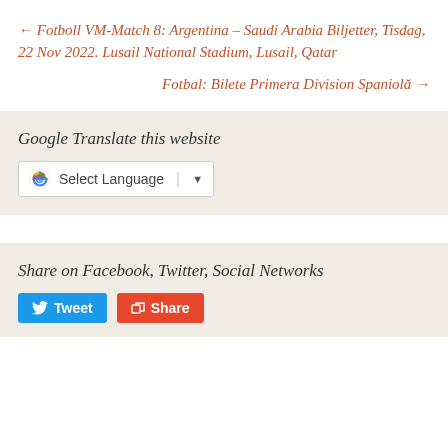← Fotboll VM-Match 8: Argentina – Saudi Arabia Biljetter, Tisdag, 22 Nov 2022. Lusail National Stadium, Lusail, Qatar
Fotbal: Bilete Primera Division Spaniolă →
Google Translate this website
[Figure (other): Google Translate language selector widget with G logo, 'Select Language' text, and dropdown arrow]
Share on Facebook, Twitter, Social Networks
[Figure (other): Tweet and Share social media buttons]